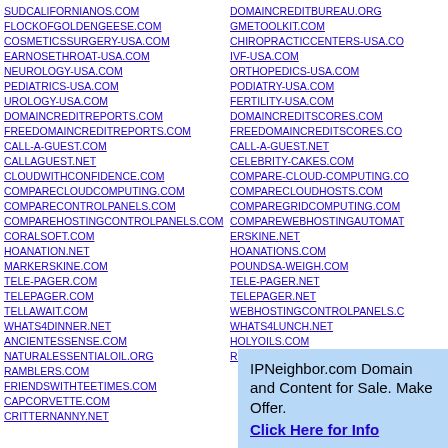SUDCALIFORNIANOS.COM
FLOCKOFGOLDENGEESE.COM
COSMETICSSURGERY-USA.COM
EARNOSETHROAT-USA.COM
NEUROLOGY-USA.COM
PEDIATRICS-USA.COM
UROLOGY-USA.COM
DOMAINCREDITREPORTS.COM
FREEDOMAINCREDITREPORTS.COM
CALL-A-GUEST.COM
CALLAGUEST.NET
CLOUDWITHCONFIDENCE.COM
COMPARECLOUDCOMPUTING.COM
COMPARECONTROLPANELS.COM
COMPAREHOSTINGCONTROLPANELS.COM
CORALSOFT.COM
HOANATION.NET
MARKERSKINE.COM
TELE-PAGER.COM
TELEPAGER.COM
TELLAWAIT.COM
WHATS4DINNER.NET
ANCIENTESSENSE.COM
NATURALESSENTIALOIL.ORG
RAMBLERS.COM
FRIENDSWITHTEETIMES.COM
CAPCORVETTE.COM
CRITTERNANNY.NET
DOMAINCREDITBUREAU.ORG
GMETOOLKIT.COM
CHIROPRACTICCENTERS-USA.COM
IVF-USA.COM
ORTHOPEDICS-USA.COM
PODIATRY-USA.COM
FERTILITY-USA.COM
DOMAINCREDITSCORES.COM
FREEDOMAINCREDITSCORES.COM
CALL-A-GUEST.NET
CELEBRITY-CAKES.COM
COMPARE-CLOUD-COMPUTING.COM
COMPARECLOUDHOSTS.COM
COMPAREGRIDCOMPUTING.COM
COMPAREWEBHOSTINGAUTOMATION.COM
ERSKINE.NET
HOANATIONS.COM
POUNDSA-WEIGH.COM
TELE-PAGER.NET
TELEPAGER.NET
WEBHOSTINGCONTROLPANELS.COM
WHATS4LUNCH.NET
HOLYOILS.COM
ROFSKS.COM
IPNeighbor.com Domain and Content for Sale. Make Offer. Click Here for Info